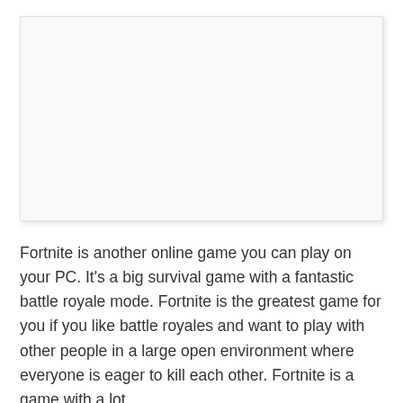[Figure (other): Blank white image placeholder with light border and shadow]
Fortnite is another online game you can play on your PC. It's a big survival game with a fantastic battle royale mode. Fortnite is the greatest game for you if you like battle royales and want to play with other people in a large open environment where everyone is eager to kill each other. Fortnite is a game with a lot